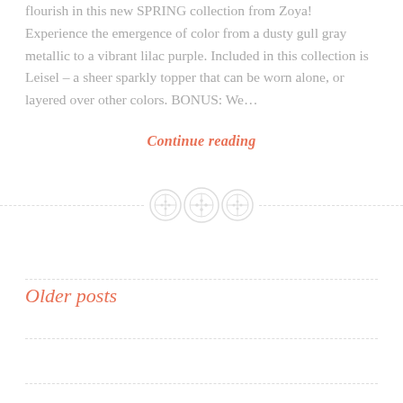flourish in this new SPRING collection from Zoya! Experience the emergence of color from a dusty gull gray metallic to a vibrant lilac purple. Included in this collection is Leisel – a sheer sparkly topper that can be worn alone, or layered over other colors. BONUS: We…
Continue reading
[Figure (illustration): Three decorative button icons arranged horizontally, light gray color, centered between two dashed horizontal lines forming a section divider.]
Older posts